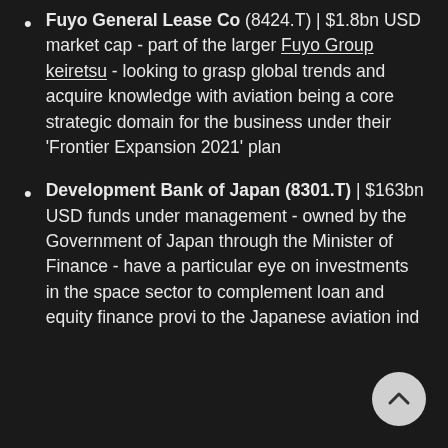Fuyo General Lease Co (8424.T) | $1.8bn USD market cap - part of the larger Fuyo Group keiretsu - looking to grasp global trends and acquire knowledge with aviation being a core strategic domain for the business under their 'Frontier Expansion 2021' plan
Development Bank of Japan (8301.T) | $163bn USD funds under management - owned by the Government of Japan through the Minister of Finance - have a particular eye on investments in the space sector to complement loan and equity finance provided to the Japanese aviation industry